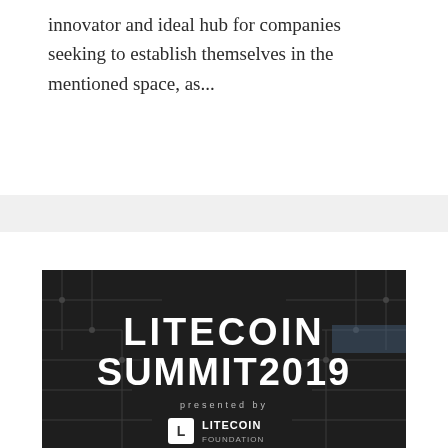innovator and ideal hub for companies seeking to establish themselves in the mentioned space, as...
[Figure (photo): Litecoin Summit 2019 promotional banner image with dark background showing circuit board pattern. Text reads 'LITECOIN SUMMIT 2019 presented by LITECOIN FOUNDATION' with the Litecoin logo.]
Litecoin Summit 2019